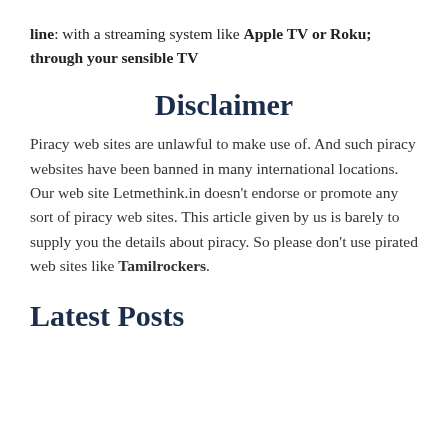line: with a streaming system like Apple TV or Roku; through your sensible TV
Disclaimer
Piracy web sites are unlawful to make use of. And such piracy websites have been banned in many international locations. Our web site Letmethink.in doesn’t endorse or promote any sort of piracy web sites. This article given by us is barely to supply you the details about piracy. So please don’t use pirated web sites like Tamilrockers.
Latest Posts